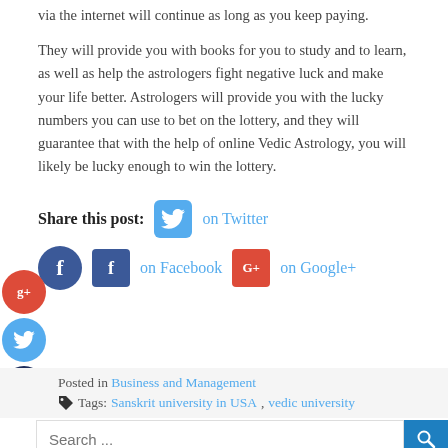via the internet will continue as long as you keep paying.
They will provide you with books for you to study and to learn, as well as help the astrologers fight negative luck and make your life better. Astrologers will provide you with the lucky numbers you can use to bet on the lottery, and they will guarantee that with the help of online Vedic Astrology, you will likely be lucky enough to win the lottery.
Share this post: on Twitter on Facebook on Google+
Posted in Business and Management
Tags: Sanskrit university in USA, vedic university
Search ...